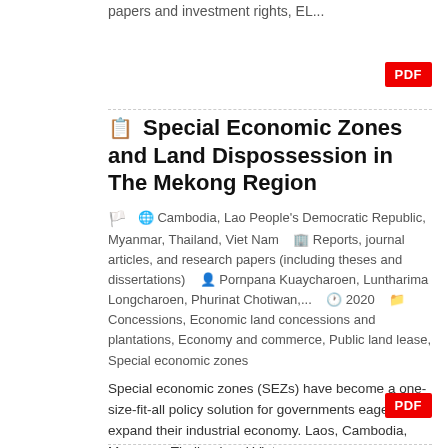papers and investment rights, EL...
PDF
Special Economic Zones and Land Dispossession in The Mekong Region
Cambodia, Lao People's Democratic Republic, Myanmar, Thailand, Viet Nam  Reports, journal articles, and research papers (including theses and dissertations)  Pornpana Kuaycharoen, Luntharima Longcharoen, Phurinat Chotiwan,...  2020  Concessions, Economic land concessions and plantations, Economy and commerce, Public land lease, Special economic zones
Special economic zones (SEZs) have become a one-size-fit-all policy solution for governments eager to expand their industrial economy. Laos, Cambodia, Myanmar, Thailand and Viet...
PDF